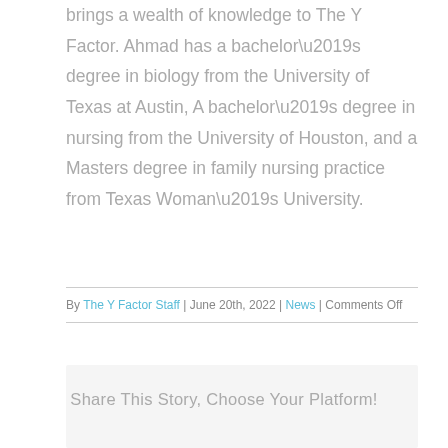brings a wealth of knowledge to The Y Factor. Ahmad has a bachelor’s degree in biology from the University of Texas at Austin, A bachelor’s degree in nursing from the University of Houston, and a Masters degree in family nursing practice from Texas Woman’s University.
By The Y Factor Staff | June 20th, 2022 | News | Comments Off
Share This Story, Choose Your Platform!